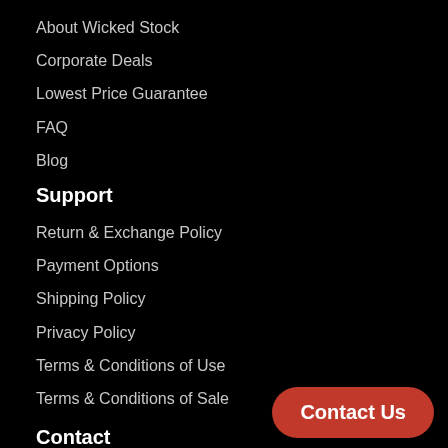About Wicked Stock
Corporate Deals
Lowest Price Guarantee
FAQ
Blog
Support
Return & Exchange Policy
Payment Options
Shipping Policy
Privacy Policy
Terms & Conditions of Use
Terms & Conditions of Sale
Contact
9700 Old Court Road, BLDG 13, Windsor Mill M…